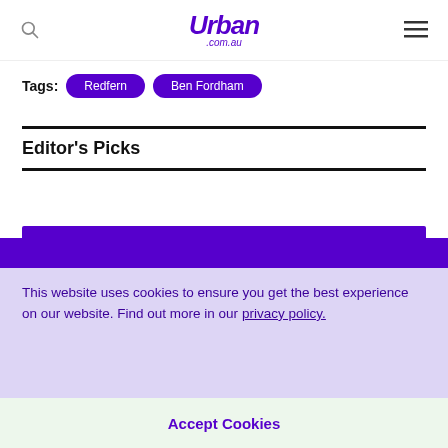Urban .com.au
Tags: Redfern  Ben Fordham
Editor's Picks
This website uses cookies to ensure you get the best experience on our website. Find out more in our privacy policy.
Accept Cookies